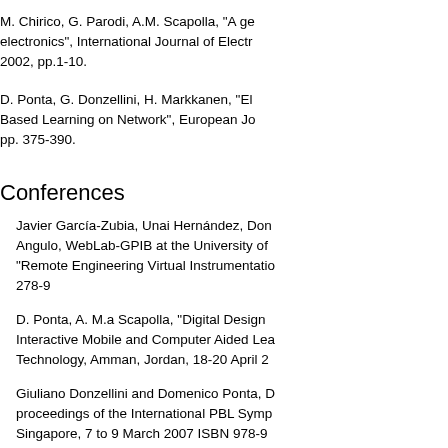M. Chirico, G. Parodi, A.M. Scapolla, "A ge... electronics", International Journal of Electr... 2002, pp.1-10.
D. Ponta, G. Donzellini, H. Markkanen, "El... Based Learning on Network", European Jo... pp. 375-390.
Conferences
Javier García-Zubia, Unai Hernández, Don... Angulo, WebLab-GPIB at the University of... "Remote Engineering Virtual Instrumentatio... 278-9
D. Ponta, A. M.a Scapolla, "Digital Design... Interactive Mobile and Computer Aided Le... Technology, Amman, Jordan, 18-20 April 2...
Giuliano Donzellini and Domenico Ponta, D... proceedings of the International PBL Symp... Singapore, 7 to 9 March 2007 ISBN 978-9...